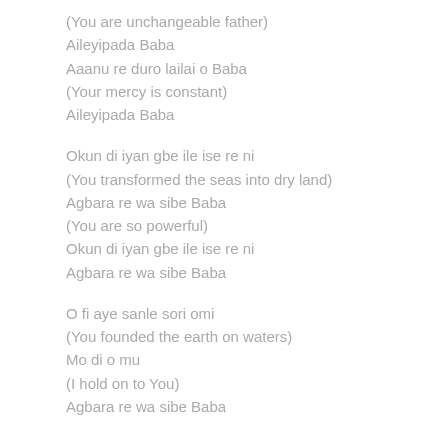(You are unchangeable father)
Aileyipada Baba
Aaanu re duro lailai o Baba
(Your mercy is constant)
Aileyipada Baba
Okun di iyan gbe ile ise re ni
(You transformed the seas into dry land)
Agbara re wa sibe Baba
(You are so powerful)
Okun di iyan gbe ile ise re ni
Agbara re wa sibe Baba
O fi aye sanle sori omi
(You founded the earth on waters)
Mo di o mu
(I hold on to You)
Agbara re wa sibe Baba